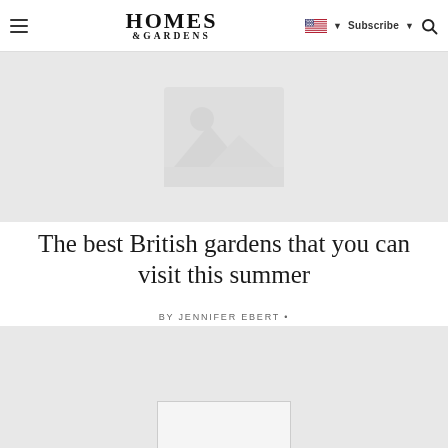Homes & Gardens — Subscribe | Search
[Figure (photo): Hero image placeholder with mountain/landscape icon on grey background]
The best British gardens that you can visit this summer
BY JENNIFER EBERT •
[Figure (photo): Second image placeholder, partially visible at bottom of page, grey background with white card element]